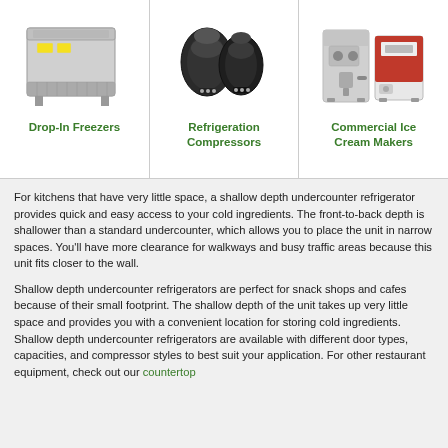[Figure (photo): Photo of a commercial drop-in freezer unit, silver/steel colored]
Drop-In Freezers
[Figure (photo): Photo of two black refrigeration compressor units]
Refrigeration Compressors
[Figure (photo): Photo of commercial ice cream maker machines, grey and red]
Commercial Ice Cream Makers
For kitchens that have very little space, a shallow depth undercounter refrigerator provides quick and easy access to your cold ingredients. The front-to-back depth is shallower than a standard undercounter, which allows you to place the unit in narrow spaces. You'll have more clearance for walkways and busy traffic areas because this unit fits closer to the wall.
Shallow depth undercounter refrigerators are perfect for snack shops and cafes because of their small footprint. The shallow depth of the unit takes up very little space and provides you with a convenient location for storing cold ingredients. Shallow depth undercounter refrigerators are available with different door types, capacities, and compressor styles to best suit your application. For other restaurant equipment, check out our countertop